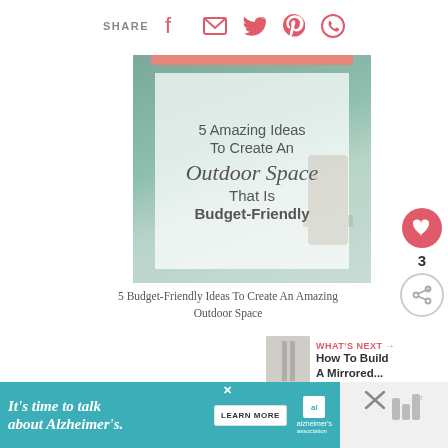SHARE
[Figure (photo): Outdoor patio scene with text overlay: '5 Amazing Ideas To Create An Outdoor Space That Is Budget-Friendly'. Pink accent bar at top, semi-transparent white text box over background.]
5 Budget-Friendly Ideas To Create An Amazing Outdoor Space
WHAT'S NEXT → How To Build A Mirrored...
It's time to talk about Alzheimer's. LEARN MORE